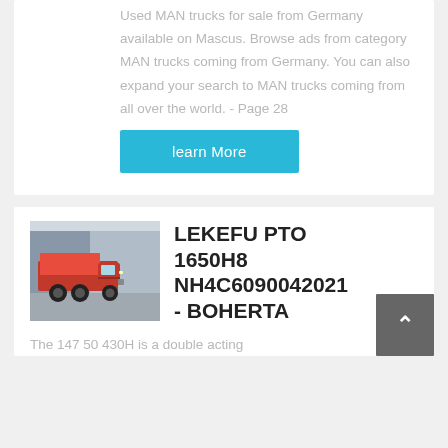Used MAN trucks for sale from Germany available on Mascus. Browse ads from category MAN trucks coming from Germany. You can also expand your search to MAN trucks coming from all over the world. - Page 28
learn More
[Figure (photo): Red heavy-duty truck (dump truck) parked in front of a building]
LEKEFU PTO 1650H8 NH4C6090042021 - BOHERTA
The 147 50 430H is a double acting